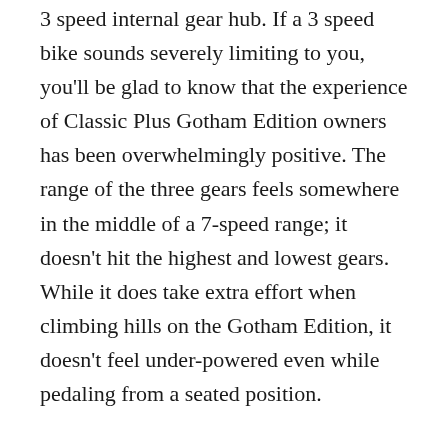3 speed internal gear hub. If a 3 speed bike sounds severely limiting to you, you'll be glad to know that the experience of Classic Plus Gotham Edition owners has been overwhelmingly positive. The range of the three gears feels somewhere in the middle of a 7-speed range; it doesn't hit the highest and lowest gears. While it does take extra effort when climbing hills on the Gotham Edition, it doesn't feel under-powered even while pedaling from a seated position.
The Shimano Nexus gear hub is fully enclosed for protection against water, dirt, and grime. This maintenance-free feature is perfectly complemented by a Gates Carbon Belt Drive.